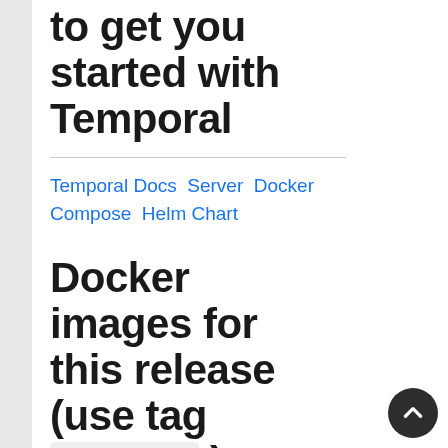to get you started with Temporal
Temporal Docs Server Docker Compose Helm Chart
Docker images for this release (use tag 1.12.3 )